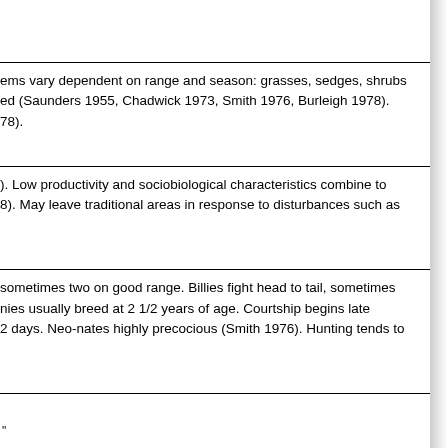ems vary dependent on range and season: grasses, sedges, shrubs ed (Saunders 1955, Chadwick 1973, Smith 1976, Burleigh 1978). 78).
). Low productivity and sociobiological characteristics combine to 8). May leave traditional areas in response to disturbances such as
sometimes two on good range. Billies fight head to tail, sometimes nies usually breed at 2 1/2 years of age. Courtship begins late 2 days. Neo-nates highly precocious (Smith 1976). Hunting tends to
"